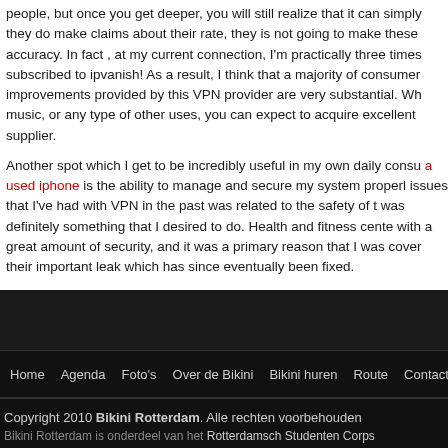people, but once you get deeper, you will still realize that it can simply they do make claims about their rate, they is not going to make these accuracy. In fact , at my current connection, I'm practically three times subscribed to ipvanish! As a result, I think that a majority of consumer improvements provided by this VPN provider are very substantial. Wh music, or any type of other uses, you can expect to acquire excellent supplier.
Another spot which I get to be incredibly useful in my own daily consu a used iphone is the ability to manage and secure my system properl issues that I've had with VPN in the past was related to the safety of t was definitely something that I desired to do. Health and fitness cente with a great amount of security, and it was a primary reason that I was cover their important leak which has since eventually been fixed.
Home  Agenda  Foto's  Over de Bikini  Bikini huren  Route  Contact
Copyright 2010 Bikini Rotterdam. Alle rechten voorbehouden
Bikini Rotterdam is onderdeel van het Rotterdamsch Studenten Corps